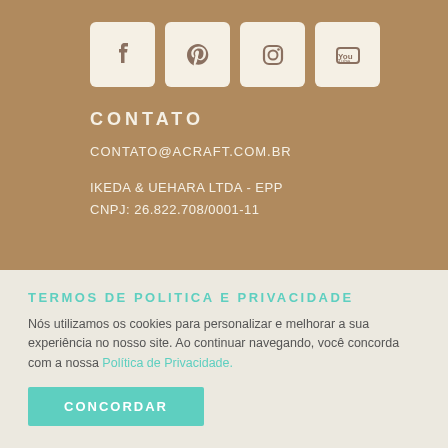[Figure (other): Social media icons: Facebook, Pinterest, Instagram, YouTube on light beige square backgrounds over brown/tan textured background]
CONTATO
CONTATO@ACRAFT.COM.BR
IKEDA & UEHARA LTDA - EPP
CNPJ: 26.822.708/0001-11
TERMOS DE POLITICA E PRIVACIDADE
Nós utilizamos os cookies para personalizar e melhorar a sua experiência no nosso site. Ao continuar navegando, você concorda com a nossa Política de Privacidade.
CONCORDAR